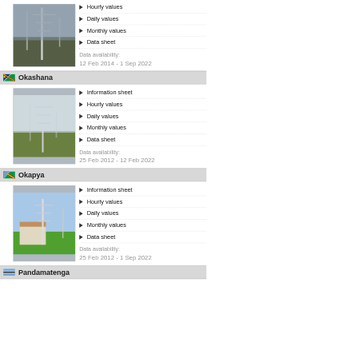Hourly values
Daily values
Monthly values
Data sheet
Data availability: 12 Feb 2014 - 1 Sep 2022
Okashana
[Figure (photo): Photo of Okashana weather station with mast in field]
Information sheet
Hourly values
Daily values
Monthly values
Data sheet
Data availability: 25 Feb 2012 - 12 Feb 2022
Okapya
[Figure (photo): Photo of Okapya weather station with mast and buildings]
Information sheet
Hourly values
Daily values
Monthly values
Data sheet
Data availability: 25 Feb 2012 - 1 Sep 2022
Pandamatenga